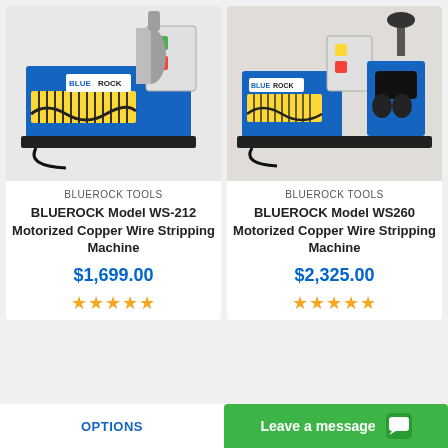[Figure (photo): Blue BLUEROCK WS-212 motorized copper wire stripping machine on white background]
BLUEROCK TOOLS
BLUEROCK Model WS-212 Motorized Copper Wire Stripping Machine
$1,699.00
[Figure (photo): Blue BLUEROCK WS260 motorized copper wire stripping machine with roller attachment on white background]
BLUEROCK TOOLS
BLUEROCK Model WS260 Motorized Copper Wire Stripping Machine
$2,325.00
OPTIONS
Leave a message